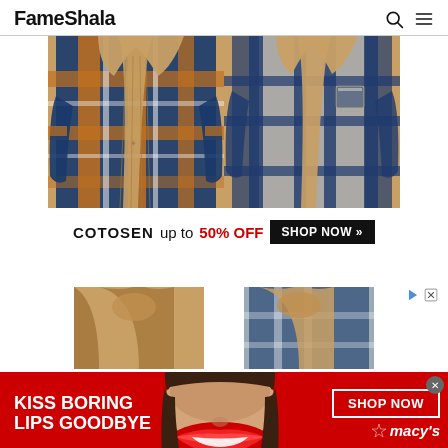FameShala
[Figure (photo): Advertisement showing two plaid flannel shirts with hoodie lining - one in navy/orange plaid and one in navy/white plaid, both showing quilted lining interior]
COTOSEN up to 50% OFF SHOP NOW >>
[Figure (photo): Second advertisement showing partial view of two hooded jackets/shirts cropped at collar area]
[Figure (photo): Macy's banner advertisement: KISS BORING LIPS GOODBYE with woman's face with red lips, SHOP NOW button and Macy's star logo]